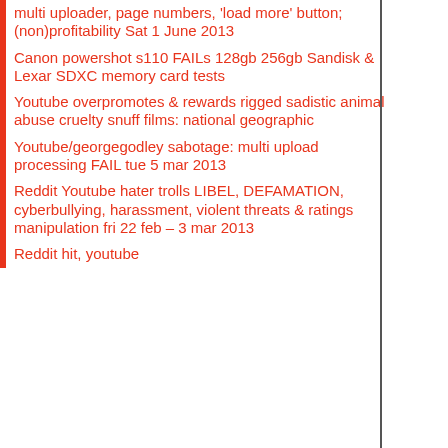multi uploader, page numbers, 'load more' button; (non)profitability Sat 1 June 2013
Canon powershot s110 FAILs 128gb 256gb Sandisk & Lexar SDXC memory card tests
Youtube overpromotes & rewards rigged sadistic animal abuse cruelty snuff films: national geographic
Youtube/georgegodley sabotage: multi upload processing FAIL tue 5 mar 2013
Reddit Youtube hater trolls LIBEL, DEFAMATION, cyberbullying, harassment, violent threats & ratings manipulation fri 22 feb – 3 mar 2013
Reddit hit, youtube